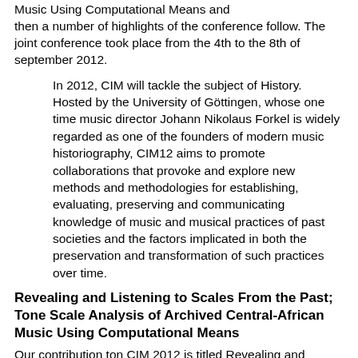Music Using Computational Means and then a number of highlights of the conference follow. The joint conference took place from the 4th to the 8th of september 2012.
In 2012, CIM will tackle the subject of History. Hosted by the University of Göttingen, whose one time music director Johann Nikolaus Forkel is widely regarded as one of the founders of modern music historiography, CIM12 aims to promote collaborations that provoke and explore new methods and methodologies for establishing, evaluating, preserving and communicating knowledge of music and musical practices of past societies and the factors implicated in both the preservation and transformation of such practices over time.
Revealing and Listening to Scales From the Past; Tone Scale Analysis of Archived Central-African Music Using Computational Means
Our contribution ton CIM 2012 is titled Revealing and Listening to Scales From the Past; Tone Scale Analysis of Archived Central-African Music Using Computational Means.